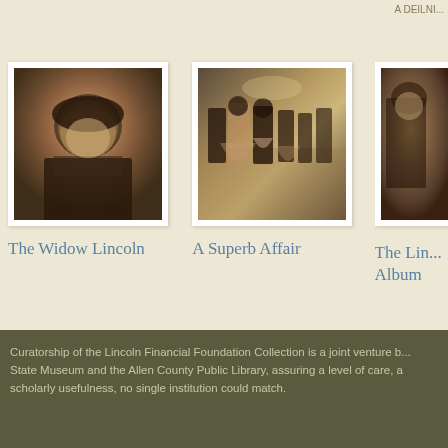[Figure (photo): Sepia portrait photograph of a woman wearing dark bonnet/hood, framed with white border — 'The Widow Lincoln' exhibit thumbnail]
The Widow Lincoln
[Figure (photo): Historical illustration of a ballroom scene with figures in period dress — 'A Superb Affair' exhibit thumbnail]
A Superb Affair
[Figure (photo): Partially visible historical photograph/illustration, cropped at right edge — 'The Lincoln Album' exhibit thumbnail]
The Lincoln Album
Curatorship of the Lincoln Financial Foundation Collection is a joint venture b... State Museum and the Allen County Public Library, assuring a level of care, a scholarly usefulness, no single institution could match.